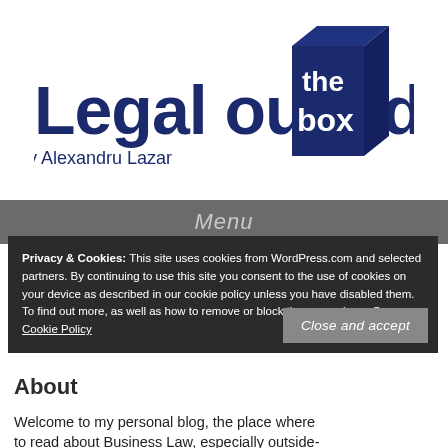[Figure (logo): Legal outside the box logo — bold dark navy text 'Legal outside' with 'the box' in white text on a dark navy 3D cube graphic, subtitle 'By Alexandru Lazar']
Menu
Privacy & Cookies: This site uses cookies from WordPress.com and selected partners. By continuing to use this site you consent to the use of cookies on your device as described in our cookie policy unless you have disabled them. To find out more, as well as how to remove or block these, see here: Our Cookie Policy
Close and accept
About
Welcome to my personal blog, the place where
to read about Business Law, especially outside-